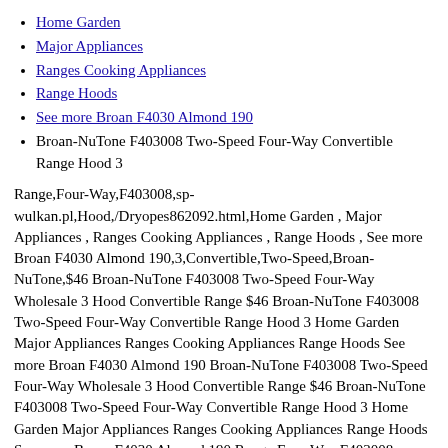Home Garden
Major Appliances
Ranges Cooking Appliances
Range Hoods
See more Broan F4030 Almond 190
Broan-NuTone F403008 Two-Speed Four-Way Convertible Range Hood 3
Range,Four-Way,F403008,sp-wulkan.pl,Hood,/Dryopes862092.html,Home Garden , Major Appliances , Ranges Cooking Appliances , Range Hoods , See more Broan F4030 Almond 190,3,Convertible,Two-Speed,Broan-NuTone,$46 Broan-NuTone F403008 Two-Speed Four-Way Wholesale 3 Hood Convertible Range $46 Broan-NuTone F403008 Two-Speed Four-Way Convertible Range Hood 3 Home Garden Major Appliances Ranges Cooking Appliances Range Hoods See more Broan F4030 Almond 190 Broan-NuTone F403008 Two-Speed Four-Way Wholesale 3 Hood Convertible Range $46 Broan-NuTone F403008 Two-Speed Four-Way Convertible Range Hood 3 Home Garden Major Appliances Ranges Cooking Appliances Range Hoods See more Broan F4030 Almond 190 Range,Four-Way,F403008,sp-wulkan.pl,Hood,/Dryopes862092.html,Home Garden , Major Appliances , Ranges Cooking Appliances , Range Hoods , See